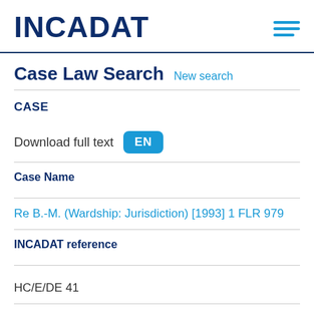INCADAT
Case Law Search  New search
CASE
Download full text  EN
Case Name
Re B.-M. (Wardship: Jurisdiction) [1993] 1 FLR 979
INCADAT reference
HC/E/DE 41
Court